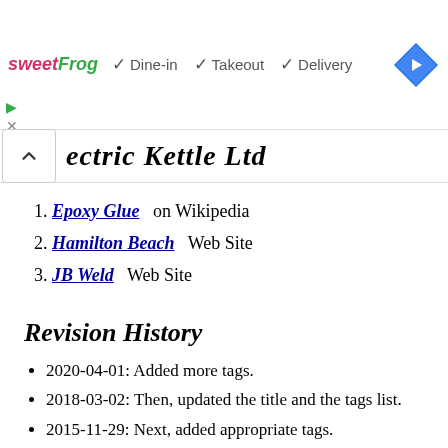[Figure (screenshot): Advertisement banner for sweetFrog showing Dine-in, Takeout, Delivery options with navigation icon]
ectric Kettle Ltd
Epoxy Glue   on Wikipedia
Hamilton Beach   Web Site
JB Weld   Web Site
Revision History
2020-04-01: Added more tags.
2018-03-02: Then, updated the title and the tags list.
2015-11-29: Next, added appropriate tags.
2015-09-23: Then, added the Suggested Reading section and also, more tags.